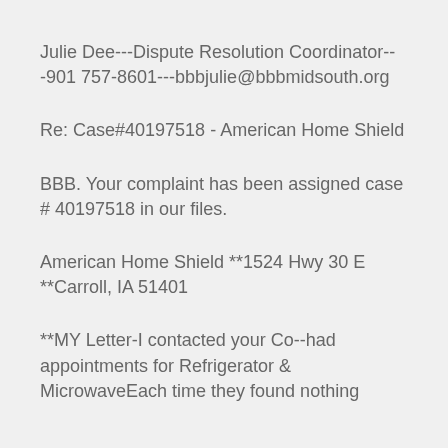Julie Dee---Dispute Resolution Coordinator---901 757-8601---bbbjulie@bbbmidsouth.org
Re: Case#40197518 - American Home Shield
BBB. Your complaint has been assigned case # 40197518 in our files.
American Home Shield **1524 Hwy 30 E **Carroll, IA 51401
**MY Letter-I contacted your Co--had appointments for Refrigerator & MicrowaveEach time they found nothing